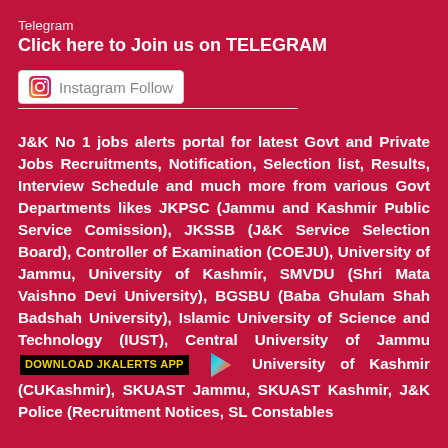Telegram
Click here to Join us on TELEGRAM
[Figure (other): Instagram Follow button with Instagram icon]
J&K No 1 jobs alerts portal for latest Govt and Private Jobs Recruitments, Notification, Selection list, Results, Interview Schedule and much more from various Govt Departments likes JKPSC (Jammu and Kashmir Public Service Comission), JKSSB (J&K Service Selection Board), Controller of Examination (COEJU), University of Jammu, University of Kashmir, SMVDU (Shri Mata Vaishno Devi University), BGSBU (Baba Ghulam Shah Badshah University), Islamic University of Science and Technology (IUST), Central University of Jammu (CUJammu), Central University of Kashmir (CUKashmir), SKUAST Jammu, SKUAST Kashmir, J&K Police (Recruitment Notices, SL Constables